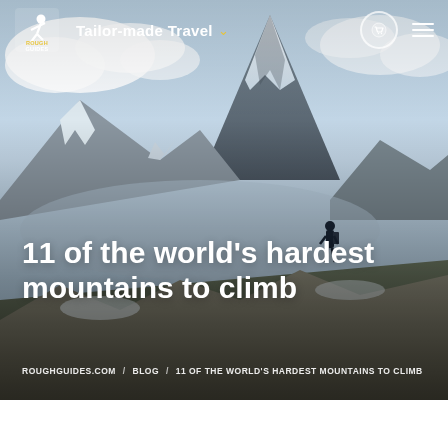[Figure (photo): Hero image of a mountain landscape with a dramatic rocky peak (Matterhorn-like) against a cloudy sky, with a hiker standing on a ridge in the foreground. Rough Guides website header.]
Rough Guides — Tailor-made Travel
11 of the world's hardest mountains to climb
ROUGHGUIDES.COM / BLOG / 11 OF THE WORLD'S HARDEST MOUNTAINS TO CLIMB